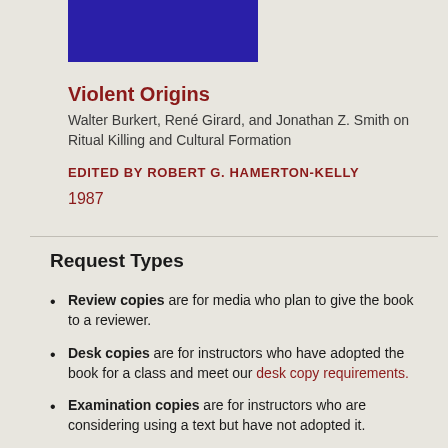[Figure (illustration): Book cover image — dark indigo/blue rectangle representing the cover of 'Violent Origins']
Violent Origins
Walter Burkert, René Girard, and Jonathan Z. Smith on Ritual Killing and Cultural Formation
EDITED BY ROBERT G. HAMERTON-KELLY
1987
Request Types
Review copies are for media who plan to give the book to a reviewer.
Desk copies are for instructors who have adopted the book for a class and meet our desk copy requirements.
Examination copies are for instructors who are considering using a text but have not adopted it.